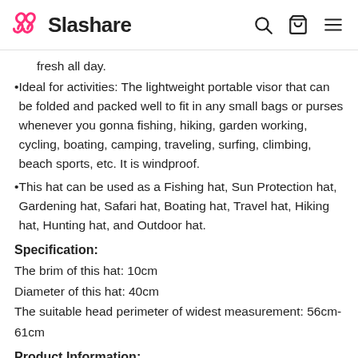Slashare
fresh all day.
Ideal for activities: The lightweight portable visor that can be folded and packed well to fit in any small bags or purses whenever you gonna fishing, hiking, garden working, cycling, boating, camping, traveling, surfing, climbing, beach sports, etc. It is windproof.
This hat can be used as a Fishing hat, Sun Protection hat, Gardening hat, Safari hat, Boating hat, Travel hat, Hiking hat, Hunting hat, and Outdoor hat.
Specification:
The brim of this hat: 10cm
Diameter of this hat: 40cm
The suitable head perimeter of widest measurement: 56cm-61cm
Product Information: